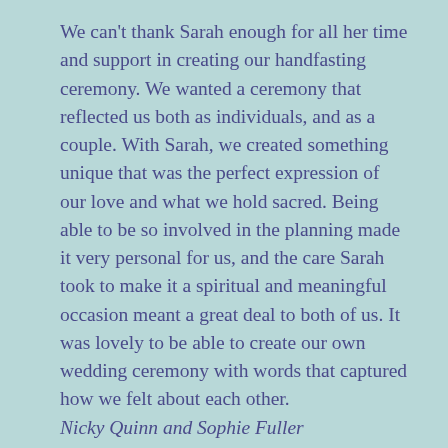We can't thank Sarah enough for all her time and support in creating our handfasting ceremony. We wanted a ceremony that reflected us both as individuals, and as a couple. With Sarah, we created something unique that was the perfect expression of our love and what we hold sacred. Being able to be so involved in the planning made it very personal for us, and the care Sarah took to make it a spiritual and meaningful occasion meant a great deal to both of us. It was lovely to be able to create our own wedding ceremony with words that captured how we felt about each other. Nicky Quinn and Sophie Fuller
We were absolutely delighted by our ceremony which was completely personal and special to us. You helped us to craft our ideas by listening carefully to us,